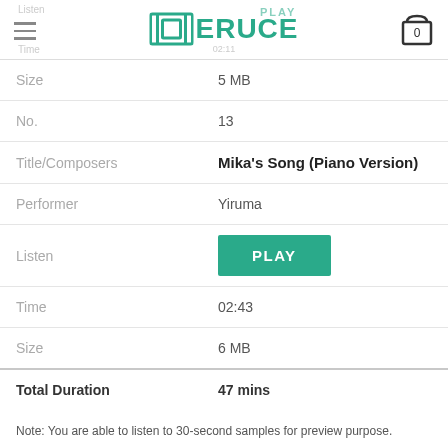ERUCE (logo with cart icon showing 0)
| Field | Value |
| --- | --- |
| Size | 5 MB |
| No. | 13 |
| Title/Composers | Mika's Song (Piano Version) |
| Performer | Yiruma |
| Listen | PLAY |
| Time | 02:43 |
| Size | 6 MB |
| Total Duration | 47 mins |
| Total Size | 109 MB |
Note: You are able to listen to 30-second samples for preview purpose.